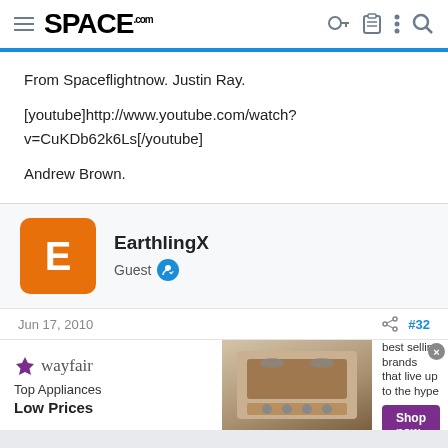SPACE.com
From Spaceflightnow. Justin Ray.

[youtube]http://www.youtube.com/watch?v=CuKDb62k6Ls[/youtube]

Andrew Brown.
EarthlingX
Guest
Jun 17, 2010  #32
[Figure (screenshot): Wayfair advertisement banner: Top Appliances Low Prices, Save on best selling brands that live up to the hype, Shop now button]